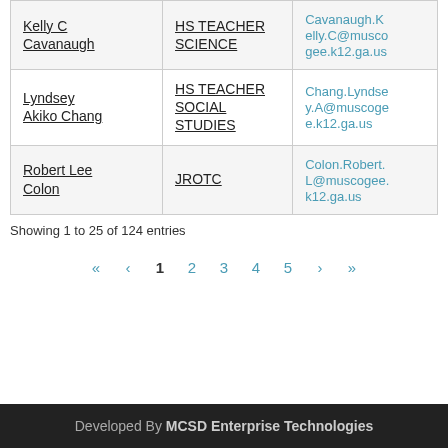| Name | Role | Email |
| --- | --- | --- |
| Kelly C Cavanaugh | HS TEACHER SCIENCE | Cavanaugh.Kelly.C@muscogee.k12.ga.us |
| Lyndsey Akiko Chang | HS TEACHER SOCIAL STUDIES | Chang.Lyndsey.A@muscogee.k12.ga.us |
| Robert Lee Colon | JROTC | Colon.Robert.L@muscogee.k12.ga.us |
Showing 1 to 25 of 124 entries
Developed By MCSD Enterprise Technologies